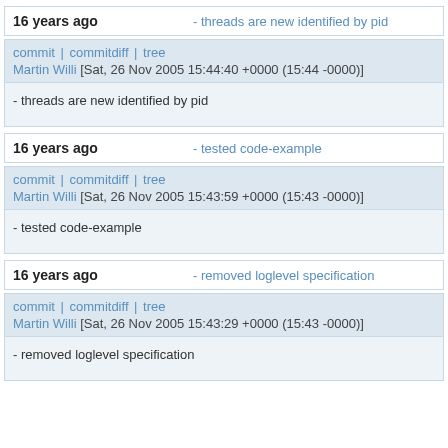16 years ago - threads are new identified by pid
commit | commitdiff | tree
Martin Willi [Sat, 26 Nov 2005 15:44:40 +0000 (15:44 -0000)]
- threads are new identified by pid
16 years ago - tested code-example
commit | commitdiff | tree
Martin Willi [Sat, 26 Nov 2005 15:43:59 +0000 (15:43 -0000)]
- tested code-example
16 years ago - removed loglevel specification
commit | commitdiff | tree
Martin Willi [Sat, 26 Nov 2005 15:43:29 +0000 (15:43 -0000)]
- removed loglevel specification